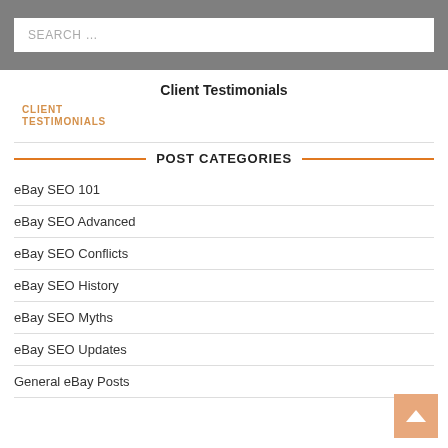SEARCH …
Client Testimonials
CLIENT
TESTIMONIALS
POST CATEGORIES
eBay SEO 101
eBay SEO Advanced
eBay SEO Conflicts
eBay SEO History
eBay SEO Myths
eBay SEO Updates
General eBay Posts